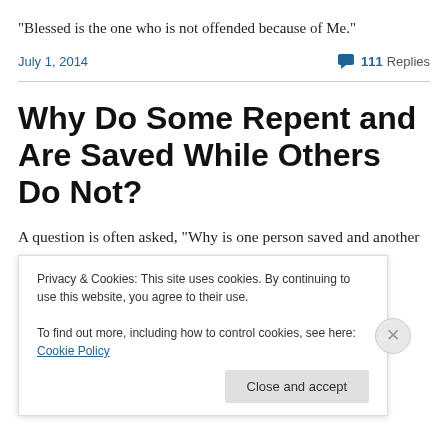“Blessed is the one who is not offended because of Me.”
July 1, 2014   ▬ 111 Replies
Why Do Some Repent and Are Saved While Others Do Not?
A question is often asked, “Why is one person saved and another not. Two people can hear the same gospel message and one repents and the other does not.” The
Privacy & Cookies: This site uses cookies. By continuing to use this website, you agree to their use.
To find out more, including how to control cookies, see here: Cookie Policy
Close and accept